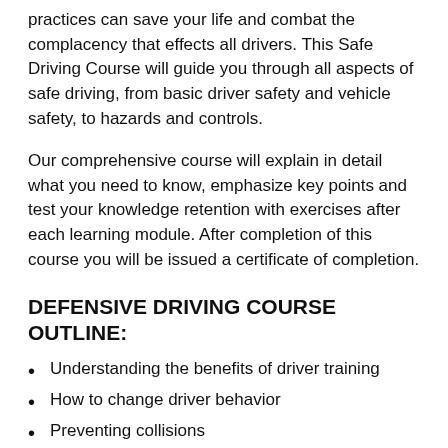practices can save your life and combat the complacency that effects all drivers. This Safe Driving Course will guide you through all aspects of safe driving, from basic driver safety and vehicle safety, to hazards and controls.
Our comprehensive course will explain in detail what you need to know, emphasize key points and test your knowledge retention with exercises after each learning module. After completion of this course you will be issued a certificate of completion.
DEFENSIVE DRIVING COURSE OUTLINE:
Understanding the benefits of driver training
How to change driver behavior
Preventing collisions
Understanding and addressing environmental hazards
Light conditions
Weather conditions
Road conditions